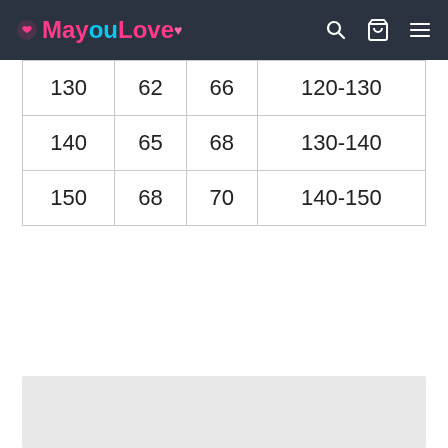MayouLove
| 130 | 62 | 66 | 120-130 |
| 140 | 65 | 68 | 130-140 |
| 150 | 68 | 70 | 140-150 |
[Figure (other): Gray placeholder box at bottom of page]